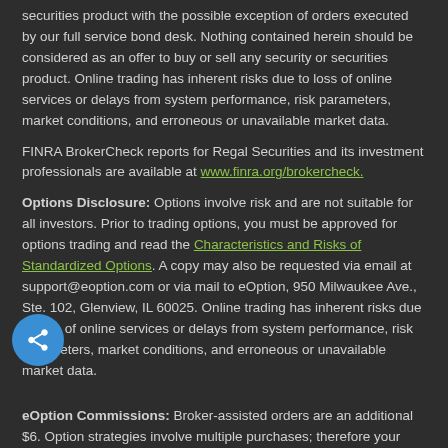securities product with the possible exception of orders executed by our full service bond desk. Nothing contained herein should be considered as an offer to buy or sell any security or securities product. Online trading has inherent risks due to loss of online services or delays from system performance, risk parameters, market conditions, and erroneous or unavailable market data.
FINRA BrokerCheck reports for Regal Securities and its investment professionals are available at www.finra.org/brokercheck.
Options Disclosure: Options involve risk and are not suitable for all investors. Prior to trading options, you must be approved for options trading and read the Characteristics and Risks of Standardized Options. A copy may also be requested via email at support@eoption.com or via mail to eOption, 950 Milwaukee Ave., Ste. 102, Glenview, IL 60025. Online trading has inherent risks due to loss of online services or delays from system performance, risk parameters, market conditions, and erroneous or unavailable market data.
eOption Commissions: Broker-assisted orders are an additional $6. Option strategies involve multiple purchases; therefore your transaction costs may be significant for option strategy trades. A commission rate of $2.00 for equities and $3.99 + $.10/contract for options, per execution, applies to orders entered and filled by eOption's Auto Trade Desk and does not apply to customers who enter their trades directly into the eOption platform and are not